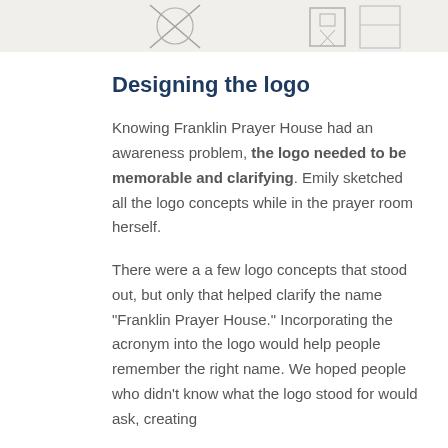[Figure (illustration): Partial view of logo sketches or illustrations at the top of the page, cropped]
Designing the logo
Knowing Franklin Prayer House had an awareness problem, the logo needed to be memorable and clarifying. Emily sketched all the logo concepts while in the prayer room herself.
There were a a few logo concepts that stood out, but only that helped clarify the name “Franklin Prayer House.” Incorporating the acronym into the logo would help people remember the right name. We hoped people who didn’t know what the logo stood for would ask, creating